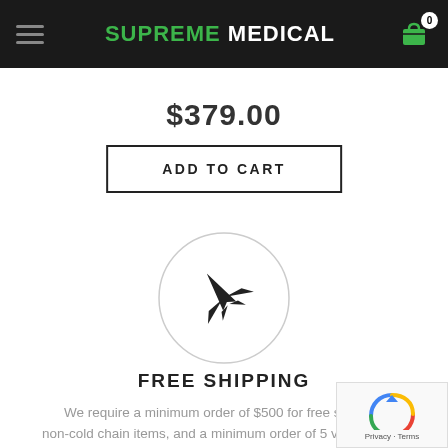SUPREME MEDICAL
$379.00
ADD TO CART
[Figure (illustration): Airplane icon inside a circle, representing free shipping]
FREE SHIPPING
We require a minimum order of $500 for free shipping non-cold chain items, and a minimum order of 5 vials for cold